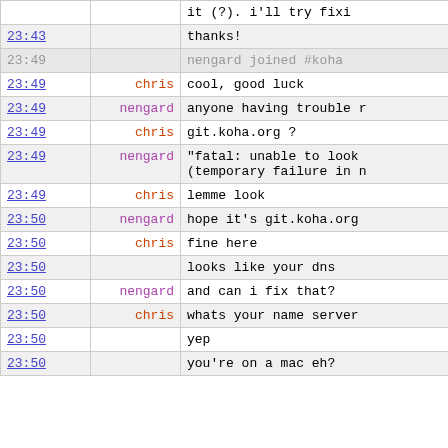| time | nick | message |
| --- | --- | --- |
|  |  | it (?).  i'll try fixi |
| 23:43 |  | thanks! |
| 23:49 |  | nengard joined #koha |
| 23:49 | chris | cool, good luck |
| 23:49 | nengard | anyone having trouble r |
| 23:49 | chris | git.koha.org ? |
| 23:49 | nengard | "fatal: unable to look
(temporary failure in n |
| 23:49 | chris | lemme look |
| 23:50 | nengard | hope it's git.koha.org |
| 23:50 | chris | fine here |
| 23:50 |  | looks like your dns |
| 23:50 | nengard | and can i fix that? |
| 23:50 | chris | whats your name server |
| 23:50 |  | yep |
| 23:50 |  | you're on a mac eh? |